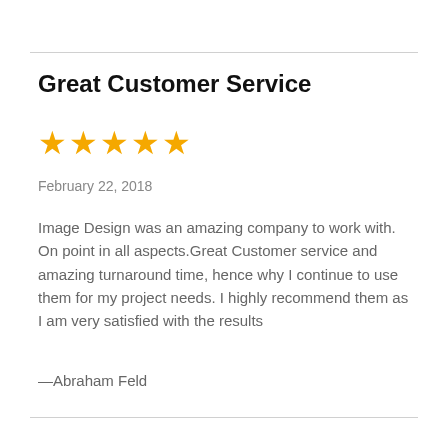Great Customer Service
[Figure (other): Five gold stars rating]
February 22, 2018
Image Design was an amazing company to work with. On point in all aspects.Great Customer service and amazing turnaround time, hence why I continue to use them for my project needs. I highly recommend them as I am very satisfied with the results
—Abraham Feld